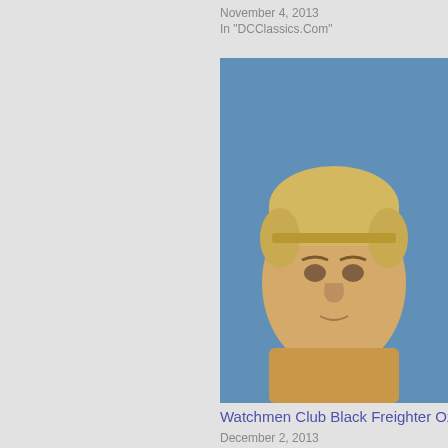November 4, 2013
In "DCClassics.Com"
[Figure (photo): Close-up photo of a blond male action figure with a headband against a blue background]
Watchmen Club Black Freighter Ozyma...
December 2, 2013
In "DCClassics.Com"
Pages: 1 2
By Nois...
[Figure (photo): Photo of multiple superhero action figures against a blue background]